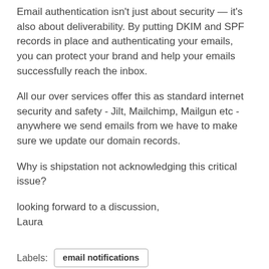Email authentication isn't just about security — it's also about deliverability. By putting DKIM and SPF records in place and authenticating your emails, you can protect your brand and help your emails successfully reach the inbox.
All our over services offer this as standard internet security and safety - Jilt, Mailchimp, Mailgun etc - anywhere we send emails from we have to make sure we update our domain records.
Why is shipstation not acknowledging this critical issue?
looking forward to a discussion,
Laura
Labels:  email notifications